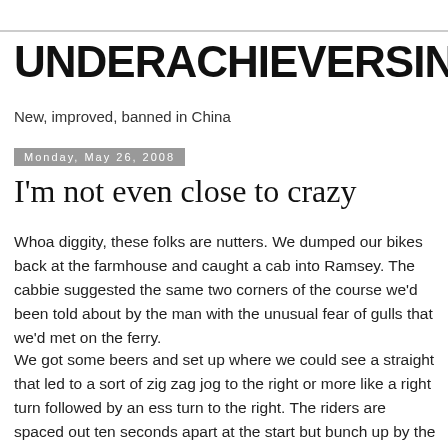UNDERACHIEVERSINK
New, improved, banned in China
Monday, May 26, 2008
I'm not even close to crazy
Whoa diggity, these folks are nutters. We dumped our bikes back at the farmhouse and caught a cab into Ramsey. The cabbie suggested the same two corners of the course we'd been told about by the man with the unusual fear of gulls that we'd met on the ferry.
We got some beers and set up where we could see a straight that led to a sort of zig zag jog to the right or more like a right turn followed by an ess turn to the right. The riders are spaced out ten seconds apart at the start but bunch up by the time they get to where we were so that there's a rider or two going by every five seconds or so. I